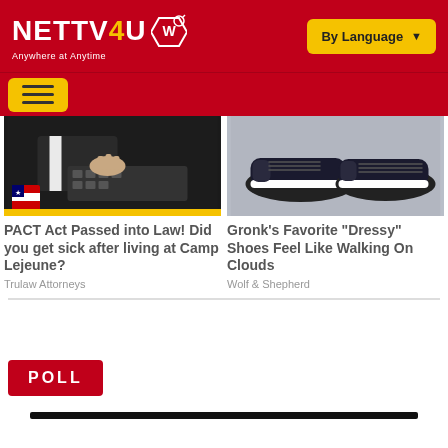NETTV4U - Anywhere at Anytime
[Figure (screenshot): Left card image: dark background showing hands on a keyboard/typewriter with a yellow stripe and flag badge at bottom]
[Figure (screenshot): Right card image: close-up of casual shoes on gray surface]
PACT Act Passed into Law! Did you get sick after living at Camp Lejeune?
Trulaw Attorneys
Gronk's Favorite "Dressy" Shoes Feel Like Walking On Clouds
Wolf & Shepherd
POLL